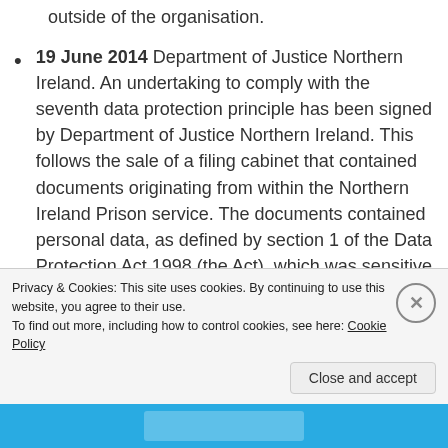outside of the organisation.
19 June 2014 Department of Justice Northern Ireland. An undertaking to comply with the seventh data protection principle has been signed by Department of Justice Northern Ireland. This follows the sale of a filing cabinet that contained documents originating from within the Northern Ireland Prison service. The documents contained personal data, as defined by section 1 of the Data Protection Act 1998 (the Act), which was sensitive in nature.
17 June 2014 Aberdeenshire Council. An undertaking to comply with the seventh data protection principle has been signed by...
Privacy & Cookies: This site uses cookies. By continuing to use this website, you agree to their use.
To find out more, including how to control cookies, see here: Cookie Policy